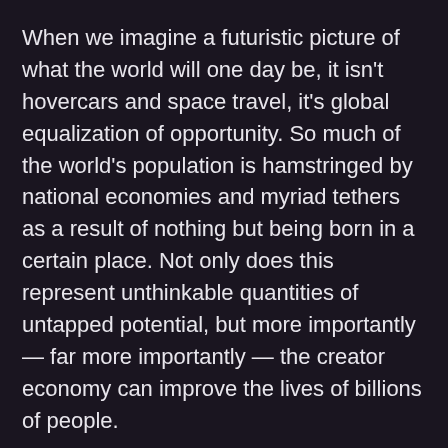When we imagine a futuristic picture of what the world will one day be, it isn’t hovercars and space travel, it’s global equalization of opportunity. So much of the world’s population is hamstringed by national economies and myriad tethers as a result of nothing but being born in a certain place. Not only does this represent unthinkable quantities of untapped potential, but more importantly — far more importantly — the creator economy can improve the lives of billions of people.
In all honestly, a decade ago, I couldn’t have possibly given any worthwhile answer to the question of how the world could be improved. That is, an actionable plan rather than platitudes. Now, seemingly out of the clear blue sky, an opportunity has been built that